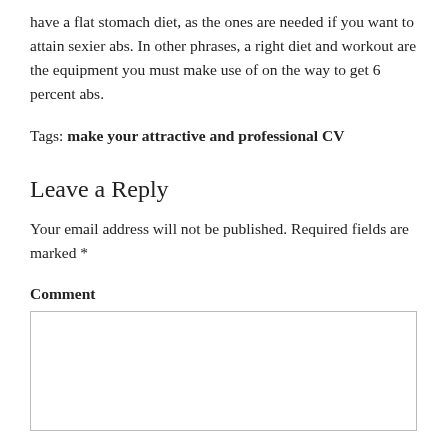have a flat stomach diet, as the ones are needed if you want to attain sexier abs. In other phrases, a right diet and workout are the equipment you must make use of on the way to get 6 percent abs.
Tags: make your attractive and professional CV
Leave a Reply
Your email address will not be published. Required fields are marked *
Comment